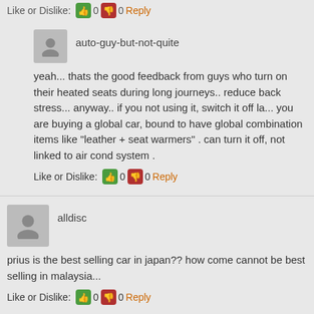Like or Dislike: 👍 0 👎 0 Reply
auto-guy-but-not-quite
yeah... thats the good feedback from guys who turn on their heated seats during long journeys.. reduce back stress... anyway.. if you not using it, switch it off la... you are buying a global car, bound to have global combination items like "leather + seat warmers" . can turn it off, not linked to air cond system .
Like or Dislike: 👍 0 👎 0 Reply
alldisc
prius is the best selling car in japan?? how come cannot be best selling in malaysia...
Like or Dislike: 👍 0 👎 0 Reply
Name